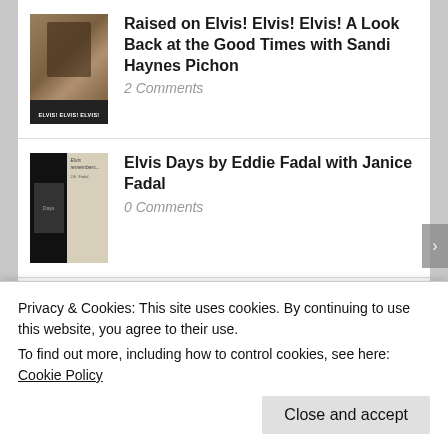Raised on Elvis! Elvis! Elvis! A Look Back at the Good Times with Sandi Haynes Pichon
2 Comments
Elvis Days by Eddie Fadal with Janice Fadal
0 Comments
Elvis by J.D. Sumner
4 Comments
Elvis: The Lighter Side by Will “Bardahl” McDaniel
Privacy & Cookies: This site uses cookies. By continuing to use this website, you agree to their use.
To find out more, including how to control cookies, see here: Cookie Policy